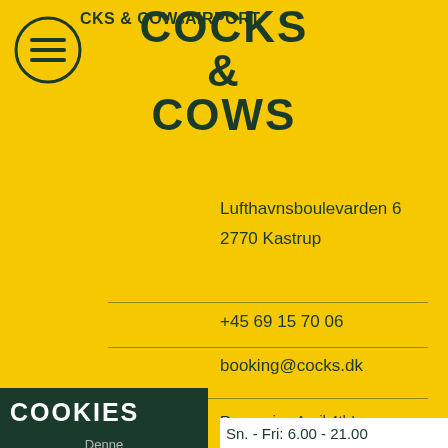COCKS & COWS
COCKS & COWS AIRPORT
Lufthavnsboulevarden 6
2770 Kastrup
+45 69 15 70 06
booking@cocks.dk
Reopening April 4th!
Opening hours
Every day: 7.00 - 19.00
From May 16th
Sn. - Fri: 6.00 - 21.00
COOKIES
Denne side benytter cookies.
Læs mere